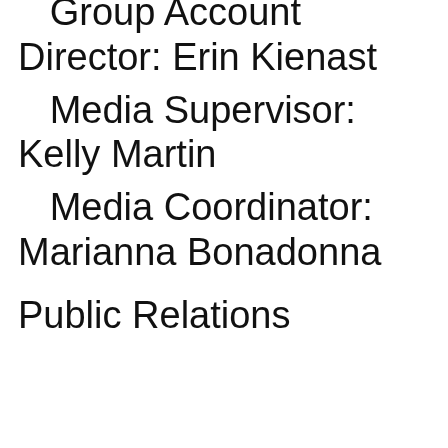Group Account Director: Erin Kienast
Media Supervisor: Kelly Martin
Media Coordinator: Marianna Bonadonna
Public Relations